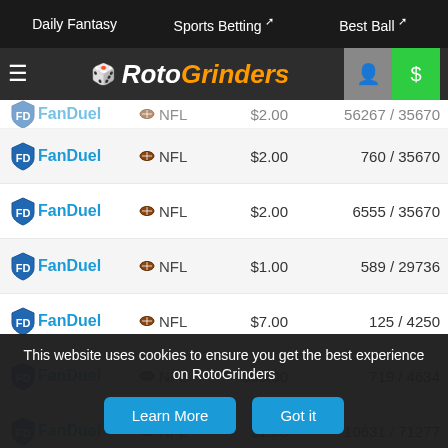Daily Fantasy | Sports Betting | Best Ball — RotoGrinders navigation
| Site | Sport | Price | Entries |
| --- | --- | --- | --- |
| FanDuel | NFL | $2.00 | 56267 / 35670 |
| FanDuel | NFL | $2.00 | 760 / 35670 |
| FanDuel | NFL | $2.00 | 6555 / 35670 |
| FanDuel | NFL | $1.00 | 589 / 29736 |
| FanDuel | NFL | $7.00 | 125 / 4250 |
| FanDuel | NFL | $33.00 | 719 / 4634 |
| FanDuel | NFL | $1.00 | 10631 / 71277 |
| FanDuel | NFL | $7.00 | 35 / 4251 |
| FanDuel | NFL | $0.25 | 4316 / 160797 |
This website uses cookies to ensure you get the best experience on RotoGrinders
Learn More | Got it